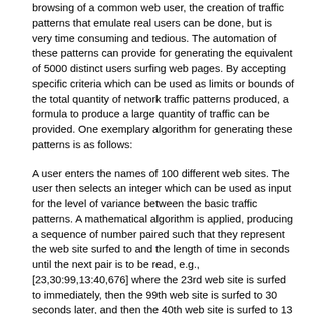browsing of a common web user, the creation of traffic patterns that emulate real users can be done, but is very time consuming and tedious. The automation of these patterns can provide for generating the equivalent of 5000 distinct users surfing web pages. By accepting specific criteria which can be used as limits or bounds of the total quantity of network traffic patterns produced, a formula to produce a large quantity of traffic can be provided. One exemplary algorithm for generating these patterns is as follows:
A user enters the names of 100 different web sites. The user then selects an integer which can be used as input for the level of variance between the basic traffic patterns. A mathematical algorithm is applied, producing a sequence of number paired such that they represent the web site surfed to and the length of time in seconds until the next pair is to be read, e.g., [23,30:99,13:40,676] where the 23rd web site is surfed to immediately, then the 99th web site is surfed to 30 seconds later, and then the 40th web site is surfed to 13 seconds later. In this example, the list of 100 different web sites and the integer for variance provides the specified criteria. The capability to produce a series that contains the list and that applies the listing to web sites is provided herein.
The user can select information via the Traffic Pattern Editor 256 that is held in memory until such time that it is processed to be saved, at which point it is transmitted back to the CM 306 via the Node Communication